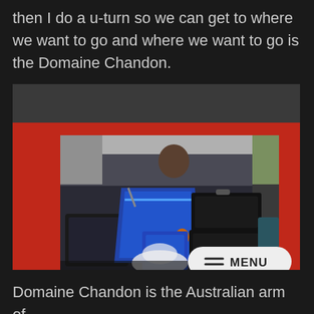then I do a u-turn so we can get to where we want to go and where we want to go is the Domaine Chandon.
[Figure (photo): Open trunk/boot of a red SUV packed full with multiple suitcases and luggage bags in various colors including blue, black, and teal, with a white plastic bag at the bottom. A person is visible through the rear window.]
Domaine Chandon is the Australian arm of